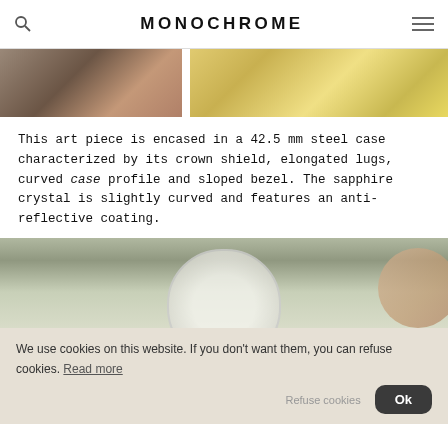MONOCHROME
[Figure (photo): Two cropped photos side by side: left shows fingers holding a watch, right shows a watch dial/case on a yellow surface]
This art piece is encased in a 42.5 mm steel case characterized by its crown shield, elongated lugs, curved case profile and sloped bezel. The sapphire crystal is slightly curved and features an anti-reflective coating.
[Figure (photo): Photo of a watch being held, showing the dial with hands and logo, partially obscured by cookie consent overlay]
We use cookies on this website. If you don't want them, you can refuse cookies. Read more
Refuse cookies  Ok